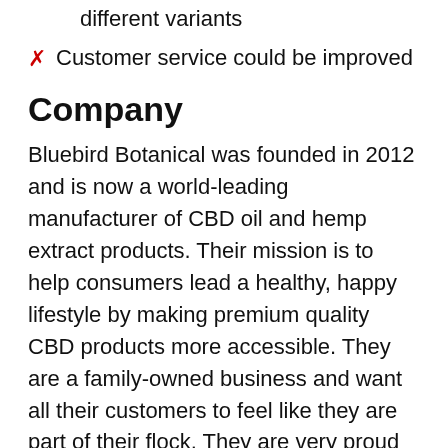different variants
✗ Customer service could be improved
Company
Bluebird Botanical was founded in 2012 and is now a world-leading manufacturer of CBD oil and hemp extract products. Their mission is to help consumers lead a healthy, happy lifestyle by making premium quality CBD products more accessible. They are a family-owned business and want all their customers to feel like they are part of their flock. They are very proud that they do not skip steps or cut corners on their products. They are